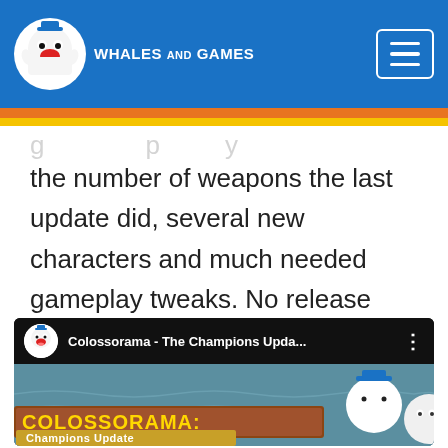Whales and Games
the number of weapons the last update did, several new characters and much needed gameplay tweaks. No release date as of yet. Haven't caught on with the update's announcement yet? Here is is!
[Figure (screenshot): YouTube video embed showing 'Colossorama - The Champions Upda...' with game logo and Champions Update text, featuring the Whales and Games mascot character]